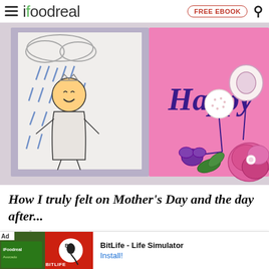ifoodreal – FREE EBOOK [search]
[Figure (photo): Two Mother's Day cards side by side. Left card shows a child's pencil drawing of a person with a crown in the rain. Right card is pink with 'Happy Moth...' written in purple marker and decorated with pressed flowers including purple pansies.]
How I truly felt on Mother's Day and the day after...
[Figure (other): Advertisement banner for BitLife - Life Simulator app with green/red background and BitLife logo. Install button shown.]
Mothe... harde...